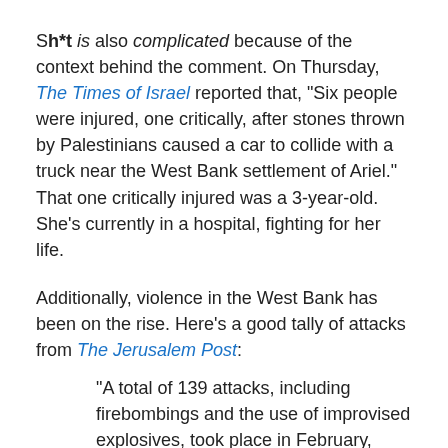Sh*t is also complicated because of the context behind the comment. On Thursday, The Times of Israel reported that, "Six people were injured, one critically, after stones thrown by Palestinians caused a car to collide with a truck near the West Bank settlement of Ariel." That one critically injured was a 3-year-old. She's currently in a hospital, fighting for her life.
Additionally, violence in the West Bank has been on the rise. Here's a good tally of attacks from The Jerusalem Post:
“A total of 139 attacks, including firebombings and the use of improvised explosives, took place in February, compared to 83 in January.
One hundred of February’s attacks took place in the West Bank—84 of them firebombings—compared to